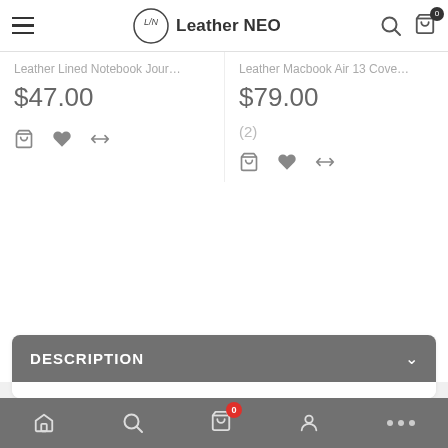Leather NEO — navigation header with hamburger menu, logo, search and cart icons
Leather Lined Notebook Jour…   $47.00
Leather Macbook Air 13 Cove…   $79.00   (2)
DESCRIPTION
Full Grain Luxury Leather Messenger Handbag Satchel for Both Men and Women
This full grain leather messenger bag satchel will look
Bottom navigation: home, search, cart (0), account, more